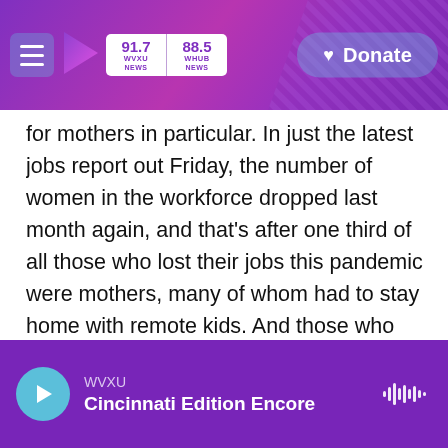WVXU 91.7 NEWS | 88.5 WHUB NEWS | Donate
for mothers in particular. In just the latest jobs report out Friday, the number of women in the workforce dropped last month again, and that's after one third of all those who lost their jobs this pandemic were mothers, many of whom had to stay home with remote kids. And those who were able to keep their jobs - well, they still bore the brunt of keeping the house running and the kids learning while a dangerous disease was swirling around. In a moment, we'll hear from mothers about the stress and some of the clarity and joy this exceptional year brought.
WVXU — Cincinnati Edition Encore